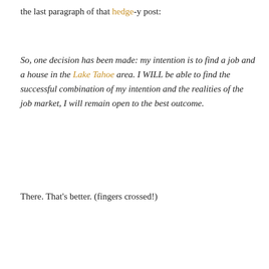the last paragraph of that hedge-y post:
So, one decision has been made: my intention is to find a job and a house in the Lake Tahoe area. I WILL be able to find the successful combination of my intention and the realities of the job market, I will remain open to the best outcome.
There. That's better. (fingers crossed!)